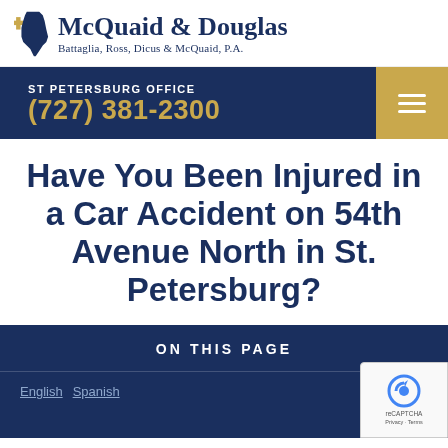[Figure (logo): McQuaid & Douglas law firm logo with Florida state map silhouette, gold cross, and text: Battaglia, Ross, Dicus & McQuaid, P.A.]
ST PETERSBURG OFFICE
(727) 381-2300
Have You Been Injured in a Car Accident on 54th Avenue North in St. Petersburg?
ON THIS PAGE
English Spanish